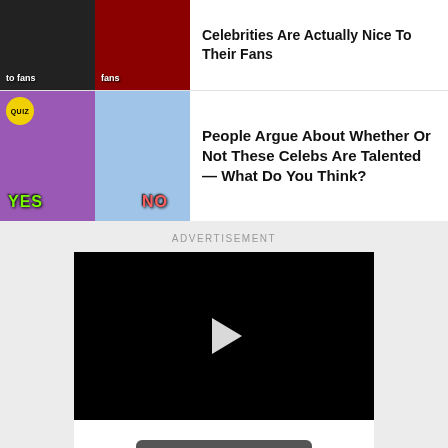[Figure (screenshot): Two thumbnail images side by side; left has dark background with text 'to fans', right has red/dark with text 'fans']
Celebrities Are Actually Nice To Their Fans
[Figure (screenshot): Quiz thumbnail with two halves: left shows woman with QUIZ badge and YES label, right shows woman with NO label]
People Argue About Whether Or Not These Celebs Are Talented — What Do You Think?
ADVERTISEMENT
[Figure (screenshot): Black video player with white play button triangle in center, and a Learn more button below]